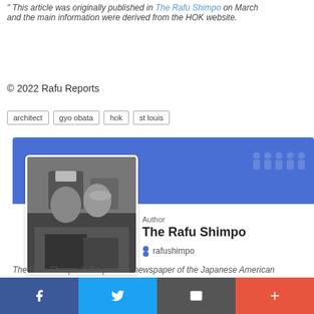" This article was originally published in The Rafu Shimpo on March ... and the main information were derived from the HOK website.
© 2022 Rafu Reports
architect
gyo obata
hok
st louis
[Figure (photo): Black and white photo of two men reading a newspaper, one wearing a chef's hat]
Author
The Rafu Shimpo
rafushimpo
The Rafu Shimpo is the premier newspaper of the Japanese American